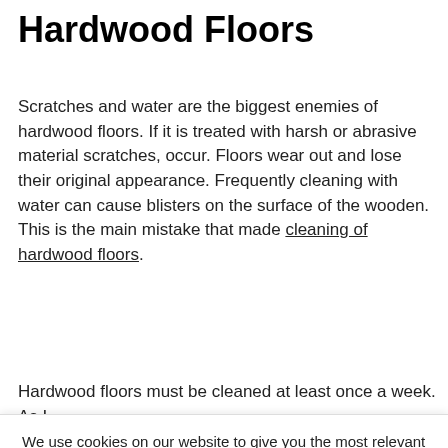Hardwood Floors
Scratches and water are the biggest enemies of hardwood floors. If it is treated with harsh or abrasive material scratches, occur. Floors wear out and lose their original appearance. Frequently cleaning with water can cause blisters on the surface of the wooden. This is the main mistake that made cleaning of hardwood floors.
Hardwood floors must be cleaned at least once a week. As I
We use cookies on our website to give you the most relevant experience by remembering your preferences and repeat visits. By clicking “Accept”, you consent to the use of ALL the cookies.
Click to Opt out (for Californians).
Settings
Accept